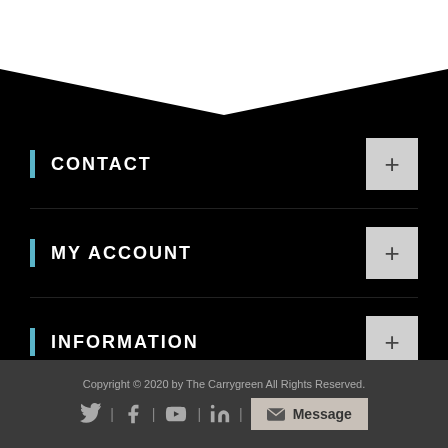[Figure (illustration): White chevron/V shape decorative element at top of black background]
CONTACT
MY ACCOUNT
INFORMATION
CUSTOMER SERVICE
Copyright © 2020 by The Carrygreen All Rights Reserved.